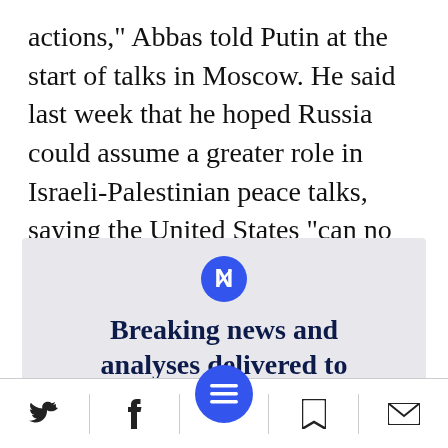actions," Abbas told Putin at the start of talks in Moscow. He said last week that he hoped Russia could assume a greater role in Israeli-Palestinian peace talks, saying the United States "can no longer play a leading role."
[Figure (infographic): Newsletter signup box with icon, heading 'Breaking news and analyses delivered to your inbox', and 'Click Here' button]
[Figure (infographic): Bottom navigation bar with Twitter, Facebook, hamburger menu (blue circle), bookmark, and email icons]